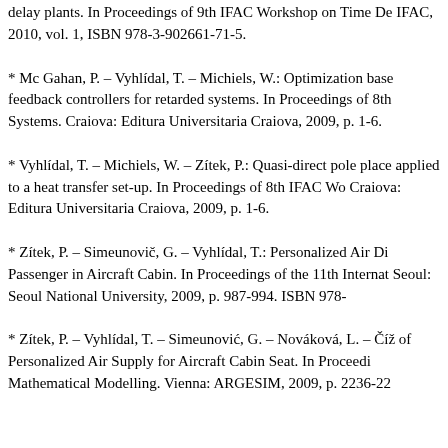delay plants. In Proceedings of 9th IFAC Workshop on Time De IFAC, 2010, vol. 1, ISBN 978-3-902661-71-5.
* Mc Gahan, P. – Vyhlídal, T. – Michiels, W.: Optimization base feedback controllers for retarded systems. In Proceedings of 8th Systems. Craiova: Editura Universitaria Craiova, 2009, p. 1-6.
* Vyhlídal, T. – Michiels, W. – Zítek, P.: Quasi-direct pole place applied to a heat transfer set-up. In Proceedings of 8th IFAC Wo Craiova: Editura Universitaria Craiova, 2009, p. 1-6.
* Zítek, P. – Simeunovič, G. – Vyhlídal, T.: Personalized Air Di Passenger in Aircraft Cabin. In Proceedings of the 11th Internat Seoul: Seoul National University, 2009, p. 987-994. ISBN 978-
* Zítek, P. – Vyhlídal, T. – Simeunović, G. – Nováková, L. – Číž of Personalized Air Supply for Aircraft Cabin Seat. In Proceedi Mathematical Modelling. Vienna: ARGESIM, 2009, p. 2236-22